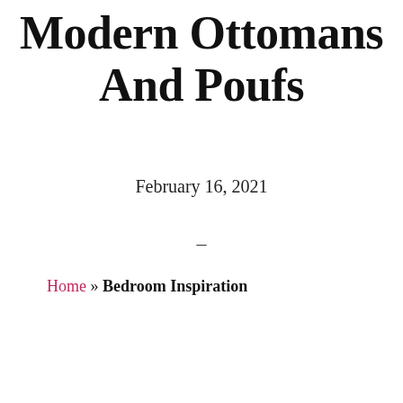Modern Ottomans And Poufs
February 16, 2021
–
Home » Bedroom Inspiration